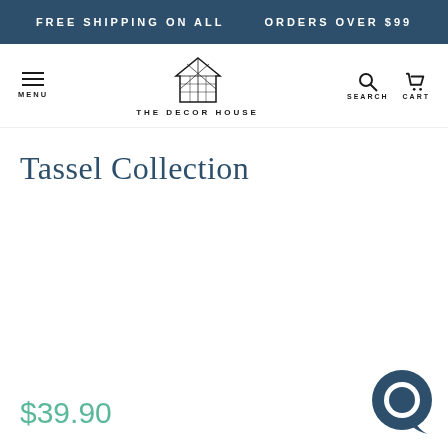FREE SHIPPING ON ALL   ORDERS OVER $99
[Figure (logo): The Decor House logo - geometric house outline with diamond pattern, text 'THE DECOR HOUSE' below]
Tassel Collection
$39.90
[Figure (illustration): Chat bubble icon in dark teal/navy circle]